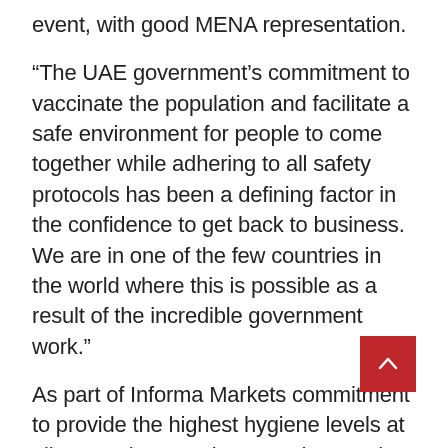event, with good MENA representation.

"The UAE government’s commitment to vaccinate the population and facilitate a safe environment for people to come together while adhering to all safety protocols has been a defining factor in the confidence to get back to business. We are in one of the few countries in the world where this is possible as a result of the incredible government work."

As part of Informa Markets commitment to provide the highest hygiene levels at all events by ensuring attendees and staff safety, the company has launched Informa AllSecure. The enhanced measures include 35 guidelines covering